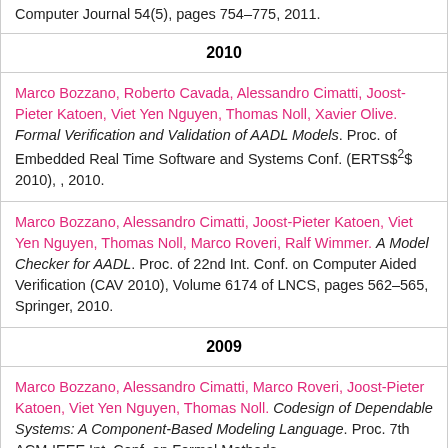Computer Journal 54(5), pages 754–775, 2011.
2010
Marco Bozzano, Roberto Cavada, Alessandro Cimatti, Joost-Pieter Katoen, Viet Yen Nguyen, Thomas Noll, Xavier Olive. Formal Verification and Validation of AADL Models. Proc. of Embedded Real Time Software and Systems Conf. (ERTS$^2$ 2010), , 2010.
Marco Bozzano, Alessandro Cimatti, Joost-Pieter Katoen, Viet Yen Nguyen, Thomas Noll, Marco Roveri, Ralf Wimmer. A Model Checker for AADL. Proc. of 22nd Int. Conf. on Computer Aided Verification (CAV 2010), Volume 6174 of LNCS, pages 562–565, Springer, 2010.
2009
Marco Bozzano, Alessandro Cimatti, Marco Roveri, Joost-Pieter Katoen, Viet Yen Nguyen, Thomas Noll. Codesign of Dependable Systems: A Component-Based Modeling Language. Proc. 7th ACM-IEEE Int. Conf. on Formal Methods